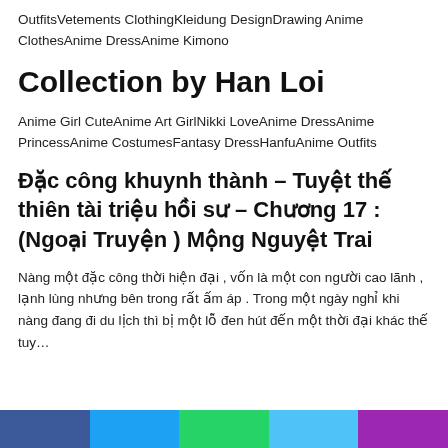OutfitsVetements ClothingKleidung DesignDrawing Anime ClothesAnime DressAnime Kimono
Collection by Han Loi
Anime Girl CuteAnime Art GirlNikki LoveAnime DressAnime PrincessAnime CostumesFantasy DressHanfuAnime Outfits
Đặc công khuynh thành – Tuyệt thế thiên tài triệu hồi sư – Chương 17 : (Ngoại Truyện ) Mộng Nguyệt Trai
Nàng một đặc công thời hiện đại , vốn là một con người cao lãnh , lạnh lùng nhưng bên trong rất ấm áp . Trong một ngày nghỉ khi nàng đang đi du lịch thì bị một lỗ đen hút đến một thời đại khác thế tuy...